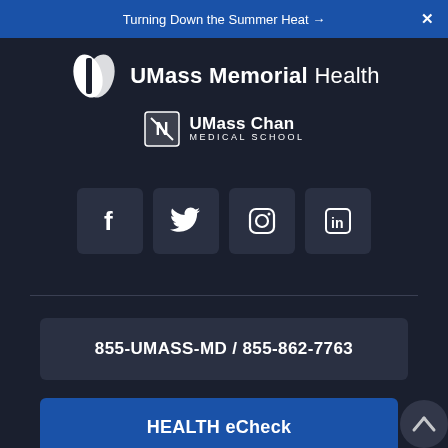Turning Down the Summer Heat →   X
[Figure (logo): UMass Memorial Health logo with stylized white shield/leaf icon and text 'UMass Memorial Health' in white]
[Figure (logo): UMass Chan Medical School logo with white shield icon and text 'UMass Chan MEDICAL SCHOOL' in white]
[Figure (infographic): Four social media icon boxes: Facebook (f), Twitter (bird), Instagram (camera), LinkedIn (in)]
855-UMASS-MD / 855-862-7763
HEALTH eCheck